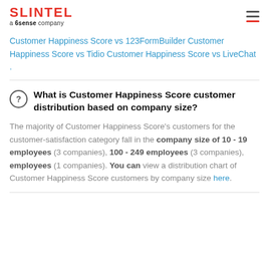SLINTEL a 6sense company
Customer Happiness Score vs 123FormBuilder Customer Happiness Score vs Tidio Customer Happiness Score vs LiveChat .
What is Customer Happiness Score customer distribution based on company size?
The majority of Customer Happiness Score's customers for the customer-satisfaction category fall in the company size of 10 - 19 employees (3 companies), 100 - 249 employees (3 companies), employees (1 companies). You can view a distribution chart of Customer Happiness Score customers by company size here.